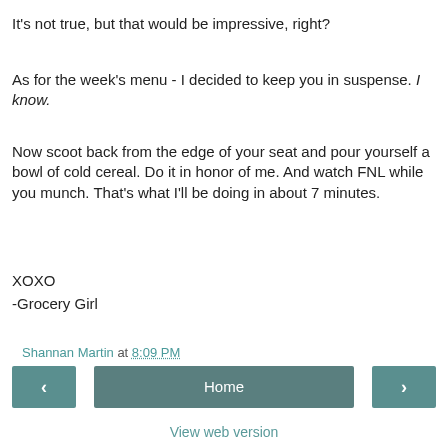It's not true, but that would be impressive, right?
As for the week's menu - I decided to keep you in suspense. I know.
Now scoot back from the edge of your seat and pour yourself a bowl of cold cereal. Do it in honor of me. And watch FNL while you munch. That's what I'll be doing in about 7 minutes.
XOXO
-Grocery Girl
Shannan Martin at 8:09 PM
Home
View web version